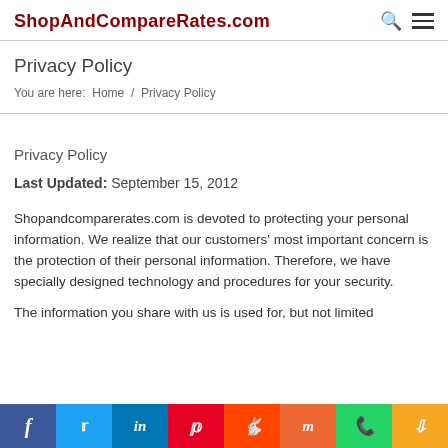ShopAndCompareRates.com
Privacy Policy
You are here:  Home  /  Privacy Policy
Privacy Policy
Last Updated: September 15, 2012
Shopandcomparerates.com is devoted to protecting your personal information. We realize that our customers' most important concern is the protection of their personal information. Therefore, we have specially designed technology and procedures for your security.
The information you share with us is used for, but not limited